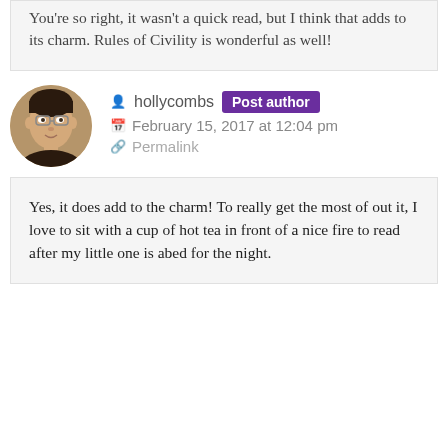You're so right, it wasn't a quick read, but I think that adds to its charm. Rules of Civility is wonderful as well!
[Figure (photo): Circular avatar photo of hollycombs, a person with short dark hair and glasses]
hollycombs  Post author
February 15, 2017 at 12:04 pm
Permalink
Yes, it does add to the charm! To really get the most of out it, I love to sit with a cup of hot tea in front of a nice fire to read after my little one is abed for the night.